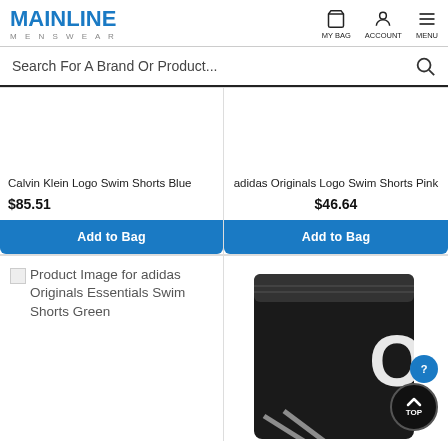[Figure (logo): Mainline Menswear logo with blue text and grey subtext]
MY BAG | ACCOUNT | MENU
Search For A Brand Or Product...
Calvin Klein Logo Swim Shorts Blue
$85.51
Add to Bag
adidas Originals Logo Swim Shorts Pink
$46.64
Add to Bag
[Figure (photo): Broken image placeholder for adidas Originals Essentials Swim Shorts Green]
[Figure (photo): Photo of black swim shorts (adidas Originals) showing waistband and logo]